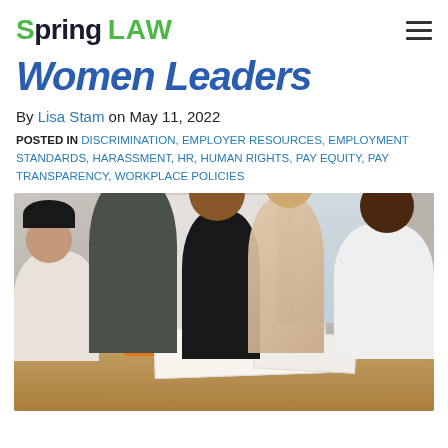Spring LAW
Women Leaders
By Lisa Stam on May 11, 2022
POSTED IN DISCRIMINATION, EMPLOYER RESOURCES, EMPLOYMENT STANDARDS, HARASSMENT, HR, HUMAN RIGHTS, PAY EQUITY, PAY TRANSPARENCY, WORKPLACE POLICIES
[Figure (photo): Five women of diverse backgrounds collaborating around a table with papers and documents, in a bright office setting with whiteboards in the background.]